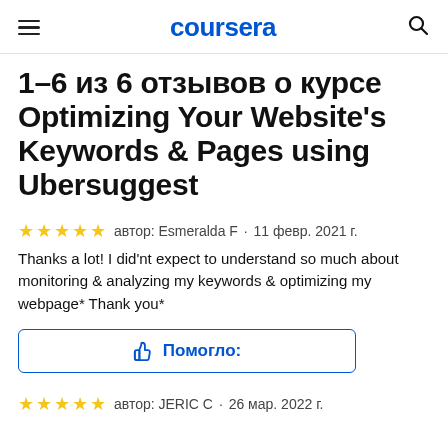coursera
1–6 из 6 отзывов о курсе Optimizing Your Website's Keywords & Pages using Ubersuggest
автор: Esmeralda F · 11 февр. 2021 г.
Thanks a lot! I did'nt expect to understand so much about monitoring & analyzing my keywords & optimizing my webpage* Thank you*
[Figure (other): Thumbs up button with label 'Помогло:']
автор: JERIC C · 26 мар. 2022 г.